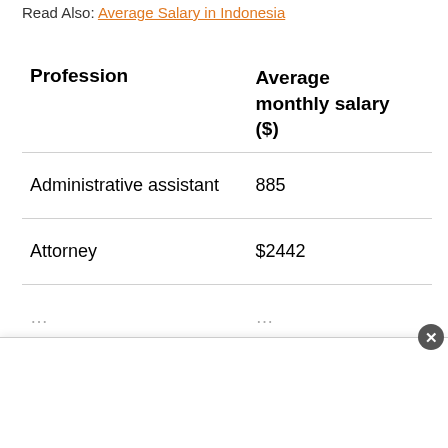Read Also: Average Salary in Indonesia
| Profession | Average monthly salary ($) |
| --- | --- |
| Administrative assistant | 885 |
| Attorney | $2442 |
| … | … |